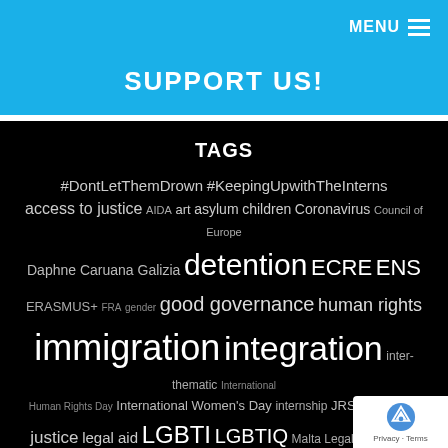MENU
SUPPORT US!
TAGS
#DontLetThemDrown #KeepingUpwithTheInterns access to justice AIDA art asylum children Coronavirus Council of Europe Daphne Caruana Galizia detention ECRE ENS ERASMUS+ FRA gender good governance human rights immigration integration inter-thematic International Human Rights Day International Women's Day internship JRS JRS Malta justice legal aid LGBTI LGBTIQ Malta Legal Network on MGRM migrants migration PHROM PICUM policy ra...